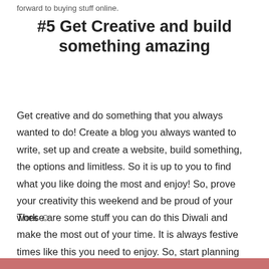forward to buying stuff online.
#5 Get Creative and build something amazing
Get creative and do something that you always wanted to do! Create a blog you always wanted to write, set up and create a website, build something, the options and limitless. So it is up to you to find what you like doing the most and enjoy! So, prove your creativity this weekend and be proud of your work ☺
These are some stuff you can do this Diwali and make the most out of your time. It is always festive times like this you need to enjoy. So, start planning your long Diwali weekend…